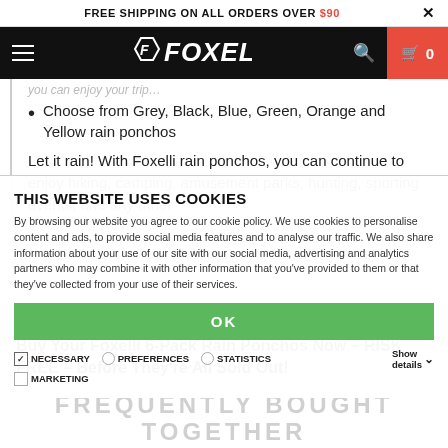FREE SHIPPING ON ALL ORDERS OVER $90
[Figure (logo): Foxelli brand logo in white italic text on black navigation bar with hamburger menu, search icon, and red cart button showing 0 items]
Choose from Grey, Black, Blue, Green, Orange and Yellow rain ponchos
Let it rain! With Foxelli rain ponchos, you can continue to enjoy hiking, camping, amusement parks, hunting, sporting events, and any other
THIS WEBSITE USES COOKIES
By browsing our website you agree to our cookie policy. We use cookies to personalise content and ads, to provide social media features and to analyse our traffic. We also share information about your use of our site with our social media, advertising and analytics partners who may combine it with other information that you've provided to them or that they've collected from your use of their services.
Buy Your Foxelli 6-Pack Rain Ponchos Now – RISK FREE – Before They're All Sold Out!
FREQUENTLY BOUGHT TOGETHER